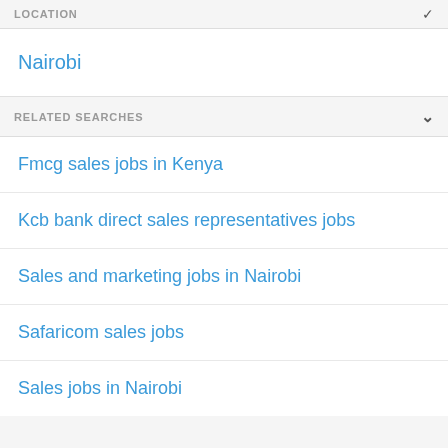LOCATION
Nairobi
RELATED SEARCHES
Fmcg sales jobs in Kenya
Kcb bank direct sales representatives jobs
Sales and marketing jobs in Nairobi
Safaricom sales jobs
Sales jobs in Nairobi